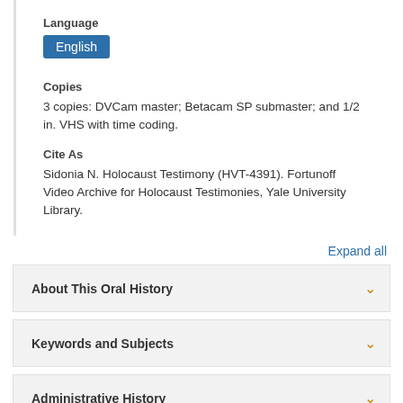Language
English
Copies
3 copies: DVCam master; Betacam SP submaster; and 1/2 in. VHS with time coding.
Cite As
Sidonia N. Holocaust Testimony (HVT-4391). Fortunoff Video Archive for Holocaust Testimonies, Yale University Library.
Expand all
About This Oral History
Keywords and Subjects
Administrative History